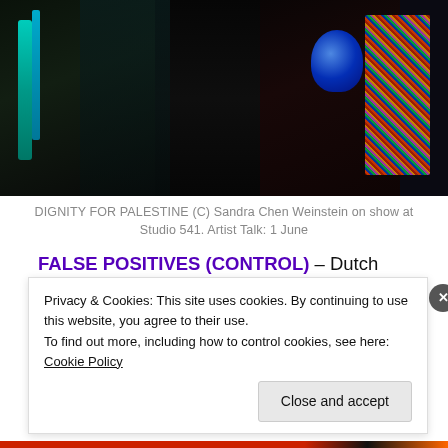[Figure (photo): Photo of performers in traditional Palestinian embroidered costumes, one holding a blue instrument, dark background]
DIGNITY FOR PALESTINE (C) Sandra Chen Weinstein on show at Studio 541. Artist Talk: 1 June
FALSE POSITIVES (CONTROL) – Dutch artist Esther Hovers investigates how power, politics and control are exercised through urban planning and the use of public space.
Privacy & Cookies: This site uses cookies. By continuing to use this website, you agree to their use.
To find out more, including how to control cookies, see here: Cookie Policy
Close and accept